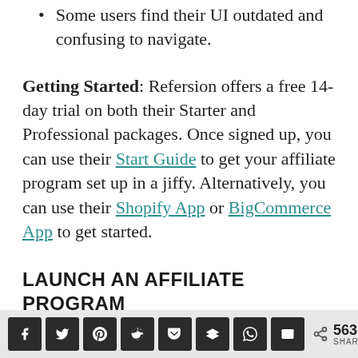Some users find their UI outdated and confusing to navigate.
Getting Started: Refersion offers a free 14-day trial on both their Starter and Professional packages. Once signed up, you can use their Start Guide to get your affiliate program set up in a jiffy. Alternatively, you can use their Shopify App or BigCommerce App to get started.
LAUNCH AN AFFILIATE PROGRAM WITH AFFILIATEWP
563 SHARES [share buttons: facebook, twitter, pinterest, reddit, pocket, buffer, whatsapp, email]